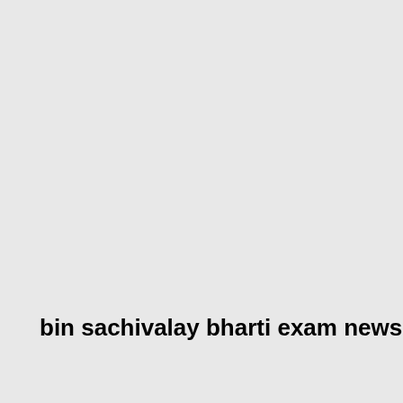bin sachivalay bharti exam news